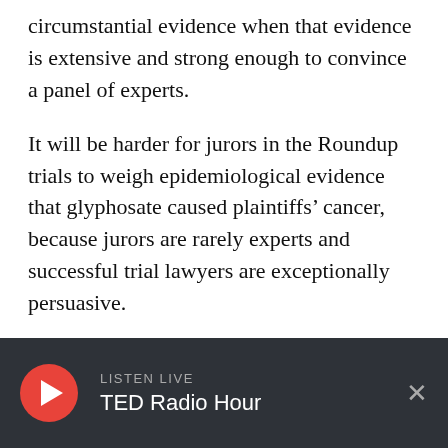circumstantial evidence when that evidence is extensive and strong enough to convince a panel of experts.
It will be harder for jurors in the Roundup trials to weigh epidemiological evidence that glyphosate caused plaintiffs' cancer, because jurors are rarely experts and successful trial lawyers are exceptionally persuasive.
In my view, there are two crucial requirements for an equitable assessment of proof of causation from products like glyphosate or cigarettes. First, were the epidemiological studies well done?
LISTEN LIVE TED Radio Hour